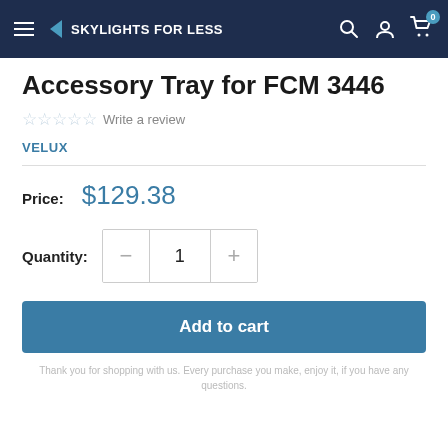SKYLIGHTS FOR LESS
Accessory Tray for FCM 3446
☆☆☆☆☆ Write a review
VELUX
Price: $129.38
Quantity: 1
Add to cart
Thank you for shopping with us. Every purchase you make, enjoy it, if you have any questions.